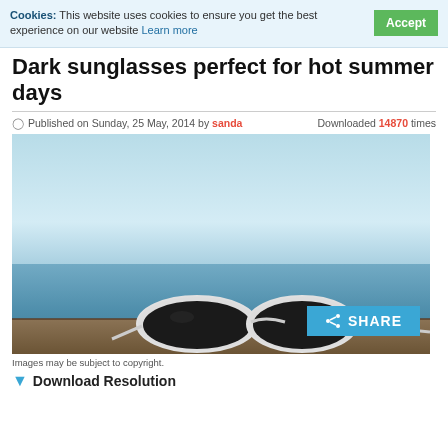Cookies: This website uses cookies to ensure you get the best experience on our website Learn more  [Accept]
Dark sunglasses perfect for hot summer days
Published on Sunday, 25 May, 2014 by sanda    Downloaded 14870 times
[Figure (photo): Photo of dark aviator sunglasses with white frames resting on a wooden surface, against a blurred sea and sky background. A blue 'SHARE' button overlay is shown in the lower right of the image.]
Images may be subject to copyright.
Download Resolution